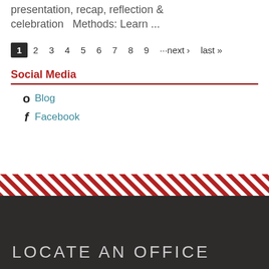presentation, recap, reflection & celebration   Methods: Learn ...
1 2 3 4 5 6 7 8 9 ···next › last »
Social Media
Blog
Facebook
LOCATE AN OFFICE